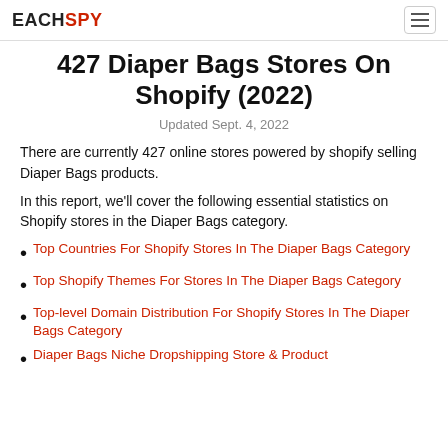EACHSPY
427 Diaper Bags Stores On Shopify (2022)
Updated Sept. 4, 2022
There are currently 427 online stores powered by shopify selling Diaper Bags products.
In this report, we'll cover the following essential statistics on Shopify stores in the Diaper Bags category.
Top Countries For Shopify Stores In The Diaper Bags Category
Top Shopify Themes For Stores In The Diaper Bags Category
Top-level Domain Distribution For Shopify Stores In The Diaper Bags Category
Diaper Bags Niche Dropshipping Store & Product